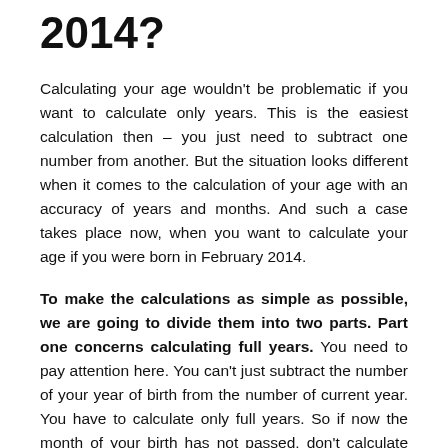2014?
Calculating your age wouldn't be problematic if you want to calculate only years. This is the easiest calculation then – you just need to subtract one number from another. But the situation looks different when it comes to the calculation of your age with an accuracy of years and months. And such a case takes place now, when you want to calculate your age if you were born in February 2014.
To make the calculations as simple as possible, we are going to divide them into two parts. Part one concerns calculating full years. You need to pay attention here. You can't just subtract the number of your year of birth from the number of current year. You have to calculate only full years. So if now the month of your birth has not passed, don't calculate the last year. Of course, we know that it can seem complicated, but it doesn't. We are going to prove it to you in the practical part.
But now let's focus on part two. In this part, you need to calculate the remaining months. To make it, you need to calculate the remaining number of months after calculating...